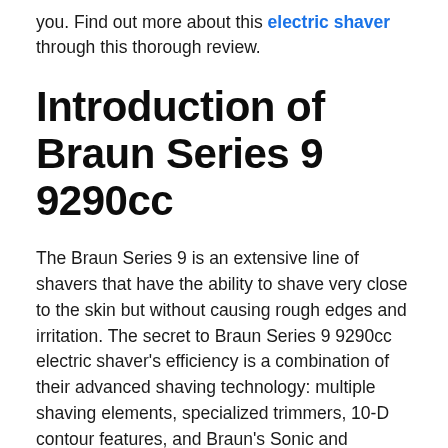you. Find out more about this electric shaver through this thorough review.
Introduction of Braun Series 9 9290cc
The Braun Series 9 is an extensive line of shavers that have the ability to shave very close to the skin but without causing rough edges and irritation. The secret to Braun Series 9 9290cc electric shaver's efficiency is a combination of their advanced shaving technology: multiple shaving elements, specialized trimmers, 10-D contour features, and Braun's Sonic and AutoSense